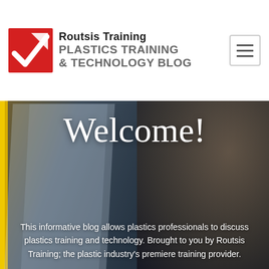Routsis Training PLASTICS TRAINING & TECHNOLOGY BLOG
[Figure (screenshot): Hero image showing a bald man with glasses and beard looking at industrial equipment/screens in a factory setting. Yellow vertical element on left, blue-toned background.]
Welcome!
This informative blog allows plastics professionals to discuss plastics training and technology. Brought to you by Routsis Training; the plastic industry's premiere training provider.